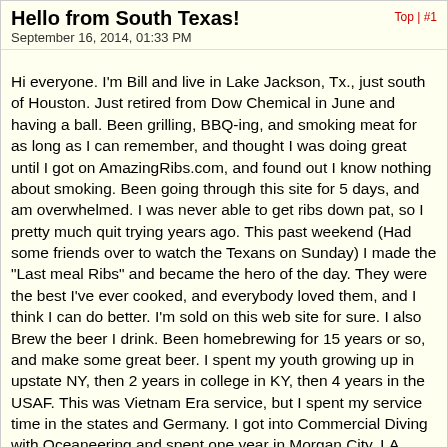Hello from South Texas!
September 16, 2014, 01:33 PM
Top | #1
Hi everyone. I'm Bill and live in Lake Jackson, Tx., just south of Houston. Just retired from Dow Chemical in June and having a ball. Been grilling, BBQ-ing, and smoking meat for as long as I can remember, and thought I was doing great until I got on AmazingRibs.com, and found out I know nothing about smoking. Been going through this site for 5 days, and am overwhelmed. I was never able to get ribs down pat, so I pretty much quit trying years ago. This past weekend (Had some friends over to watch the Texans on Sunday) I made the "Last meal Ribs" and became the hero of the day. They were the best I've ever cooked, and everybody loved them, and I think I can do better. I'm sold on this web site for sure. I also Brew the beer I drink. Been homebrewing for 15 years or so, and make some great beer. I spent my youth growing up in upstate NY, then 2 years in college in KY, then 4 years in the USAF. This was Vietnam Era service, but I spent my service time in the states and Germany. I got into Commercial Diving with Oceaneering and spent one year in Morgan City, LA., then moved to Texas on the Gulf coast and stayed in Diving for another 14 years. Health issues stopped my Diving career and I got on with Dow and had a great 21 years with them. I've had quite an array of smokers over the years, from old refrigerators, to homemade smoke boxes made of wood with a firebox attached to aluminum charcoal pits, gas grills and gas water smokers. I've been using a "Great Outdoors" Smokey Mountain Series gas water smoker for the last 5 years or so. I'm probably going to